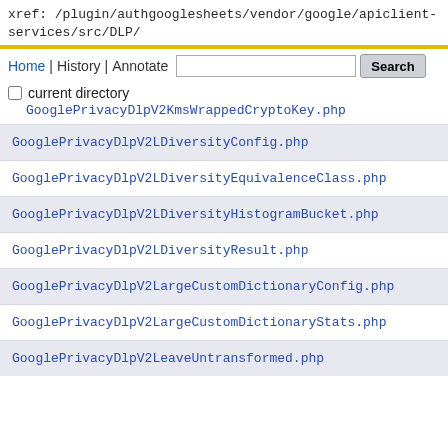xref: /plugin/authgooglesheets/vendor/google/apiclient-services/src/DLP/
GooglePrivacyDlpV2KmsWrappedCryptoKey.php
GooglePrivacyDlpV2LDiversityConfig.php
GooglePrivacyDlpV2LDiversityEquivalenceClass.php
GooglePrivacyDlpV2LDiversityHistogramBucket.php
GooglePrivacyDlpV2LDiversityResult.php
GooglePrivacyDlpV2LargeCustomDictionaryConfig.php
GooglePrivacyDlpV2LargeCustomDictionaryStats.php
GooglePrivacyDlpV2LeaveUntransformed.php